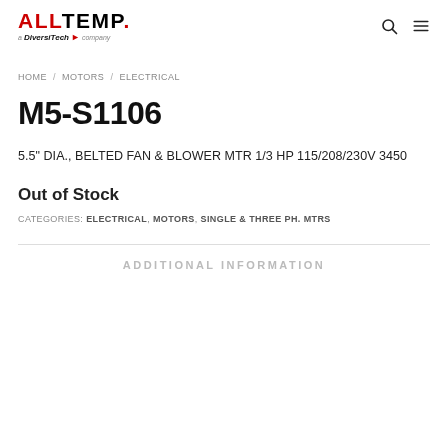ALLTEMP. a DiversiTech company
HOME / MOTORS / ELECTRICAL
M5-S1106
5.5" DIA., BELTED FAN & BLOWER MTR 1/3 HP 115/208/230V 3450
Out of Stock
CATEGORIES: ELECTRICAL, MOTORS, SINGLE & THREE PH. MTRS
ADDITIONAL INFORMATION